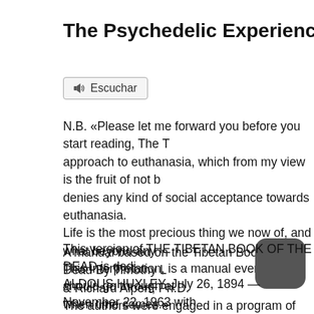The Psychedelic Experience
[Figure (other): Audio button labeled 'Escuchar' with speaker icon]
N.B. «Please let me forward you before you start reading, The T approach to euthanasia, which from my view is the fruit of not b denies any kind of social acceptance towards euthanasia. Life is the most precious thing we now of, and what beyond any This interpretation, is a manual every one should go through at when time comes.»
A manual based on the Tibetan Book of the Dead By Timothy L & Richard Alpert, Ph.D. The authors were engaged in a program of experiments with LS Harvard University, until sensational national publicity, unfairl the drugs, led to the suspension of the experiments. Since then, work without academic auspices.
[Figure (illustration): Dark rounded square icon with crescent moon symbol (night mode button)]
This version of THE TIBETAN BOOK OF THE DEAD is dedi ALDOUS HUXLEY, July 26, 1894 — November 22, 1963 with